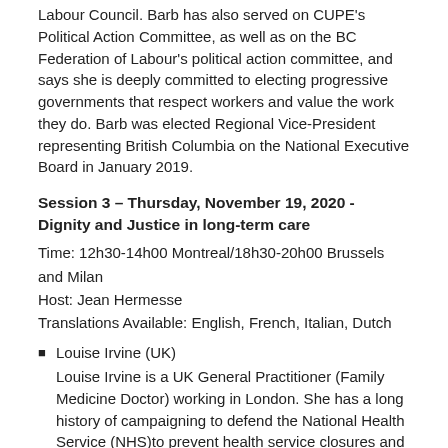Labour Council. Barb has also served on CUPE's Political Action Committee, as well as on the BC Federation of Labour's political action committee, and says she is deeply committed to electing progressive governments that respect workers and value the work they do. Barb was elected Regional Vice-President representing British Columbia on the National Executive Board in January 2019.
Session 3 – Thursday, November 19, 2020 - Dignity and Justice in long-term care
Time: 12h30-14h00 Montreal/18h30-20h00 Brussels and Milan
Host: Jean Hermesse
Translations Available: English, French, Italian, Dutch
Louise Irvine (UK)
Louise Irvine is a UK General Practitioner (Family Medicine Doctor) working in London. She has a long history of campaigning to defend the National Health Service (NHS)to prevent health service closures and privatisation, as well as campaigning on social care. She is Chair of the successful Save Lewisham Hospital campaign, a landmark campaign that involved mobilising the community in Lewisham, London and taking the Government to court to stop them closing the local hospital. She is on the executive of Keep Our NHS Pubic and is Secretary of Health Campaigns Together. She is also Secretary of Doctors in Unite which is the medical branch of Unite.